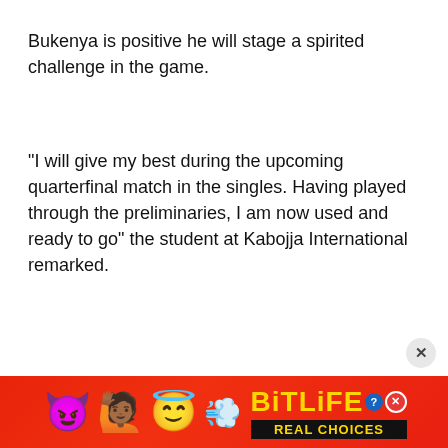Bukenya is positive he will stage a spirited challenge in the game.
“I will give my best during the upcoming quarterfinal match in the singles. Having played through the preliminaries, I am now used and ready to go” the student at Kabojja International remarked.
[Figure (other): Advertisement banner for BitLife app with colorful emojis (devil, person with raised hands, winking face with halo) and a sperm icon on a red background, with the BitLife logo in gold and 'REAL CHOICES' text on black background.]